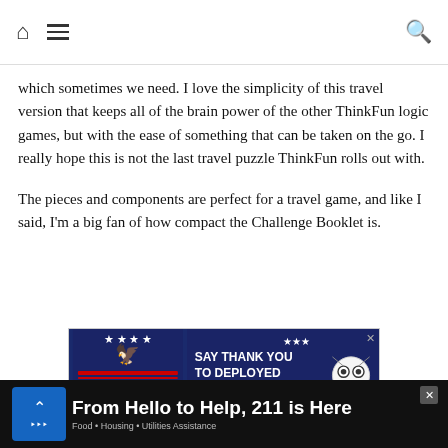Navigation bar with home icon, hamburger menu, and search icon
which sometimes we need. I love the simplicity of this travel version that keeps all of the brain power of the other ThinkFun logic games, but with the ease of something that can be taken on the go. I really hope this is not the last travel puzzle ThinkFun rolls out with.
The pieces and components are perfect for a travel game, and like I said, I'm a big fan of how compact the Challenge Booklet is.
[Figure (infographic): Operation Gratitude advertisement banner: 'SAY THANK YOU TO DEPLOYED TROOPS' with eagle logo and cartoon owl mascot in patriotic colors]
From Hello to Help, 211 is Here · Food · Housing · Utilities Assistance